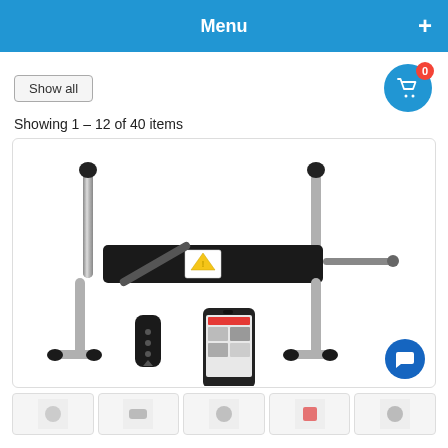Menu
Show all
Showing 1 – 12 of 40 items
[Figure (photo): Product photo of a mechanical device (sex machine) with metal stand, chrome legs, motor/actuator assembly, wireless remote control, and smartphone showing an app. White background.]
[Figure (photo): Thumbnail strip showing 5 small product thumbnails at the bottom of the page.]